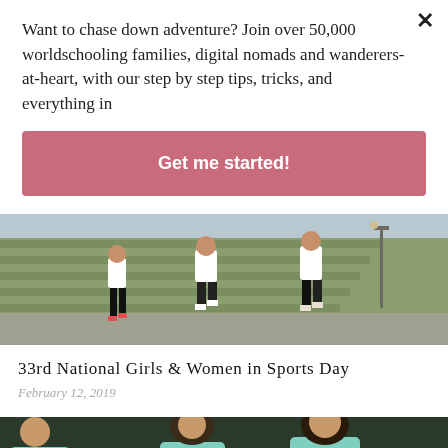Want to chase down adventure? Join over 50,000 worldschooling families, digital nomads and wanderers-at-heart, with our step by step tips, tricks, and everything in
Get me started!
[Figure (photo): Three girls running outdoors on a path with grassy terraced steps in the background, wearing white tops and dark shorts/leggings]
33rd National Girls & Women in Sports Day
February 12, 2019
[Figure (photo): Girls in colorful floral dresses dancing or playing together outdoors]